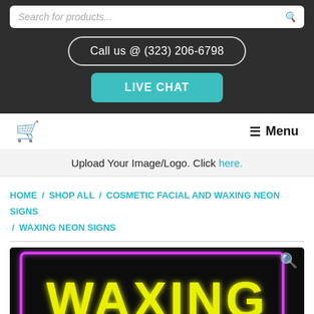Search for products...
Call us @ (323) 206-6798
LIVE CHAT
Upload Your Image/Logo. Click here.
HOME / SHOP ALL / COSMETIC FACIAL AND WAXING NEON SIGNS / WAXING NEON SIGNS
[Figure (photo): Neon sign showing the word WAXING in yellow glowing letters with a pink neon border on a dark background]